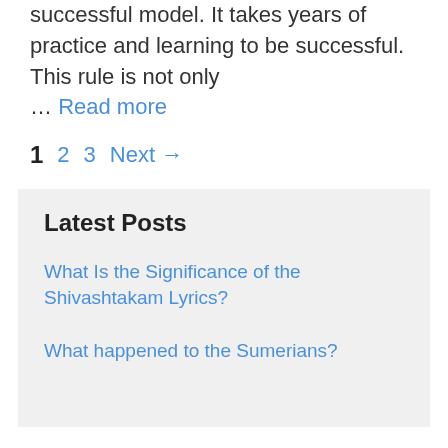successful model. It takes years of practice and learning to be successful. This rule is not only … Read more
1  2  3  Next →
Latest Posts
What Is the Significance of the Shivashtakam Lyrics?
What happened to the Sumerians?